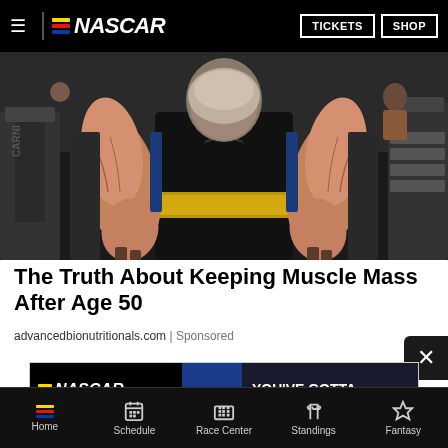NASCAR | TICKETS | SHOP
[Figure (photo): An older muscular man with gray hair and beard sitting in a gym wearing a black Nike tank top and gold weightlifting belt, showing extremely muscular forearms and arms, surrounded by gym equipment.]
The Truth About Keeping Muscle Mass After Age 50
advancedbionutritionals.com | Sponsored
[Figure (infographic): NASCAR advertisement banner: NASCAR logo with 'BUY TICKETS!' button on left, racing car image in middle, 'YOU'VE GOTTA BE THERE!' text on right dark background.]
Home | Schedule | Race Center | Standings | Fantasy